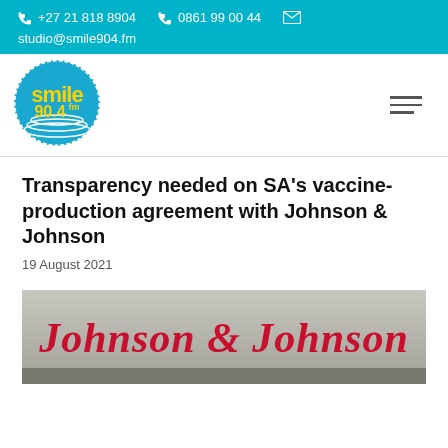+27 21 818 8904   0861 99 00 44   studio@smile904.fm
[Figure (logo): Smile 90.4 FM circular logo with yellow text on blue background]
Transparency needed on SA’s vaccine-production agreement with Johnson & Johnson
19 August 2021
[Figure (photo): Johnson & Johnson logo sign in red cursive lettering on a light grey background with vaccine bottles in foreground]